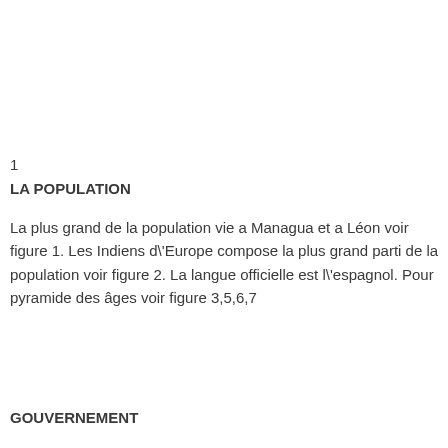1
LA POPULATION
La plus grand de la population vie a Managua et a Léon voir figure 1. Les Indiens d\'Europe compose la plus grand parti de la population voir figure 2. La langue officielle est l\'espagnol. Pour pyramide des âges voir figure 3,5,6,7
GOUVERNEMENT